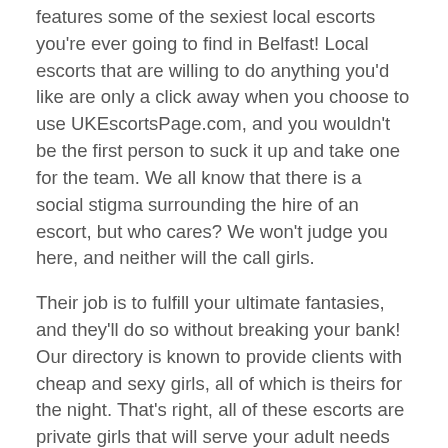features some of the sexiest local escorts you're ever going to find in Belfast! Local escorts that are willing to do anything you'd like are only a click away when you choose to use UKEscortsPage.com, and you wouldn't be the first person to suck it up and take one for the team. We all know that there is a social stigma surrounding the hire of an escort, but who cares? We won't judge you here, and neither will the call girls.
Their job is to fulfill your ultimate fantasies, and they'll do so without breaking your bank! Our directory is known to provide clients with cheap and sexy girls, all of which is theirs for the night. That's right, all of these escorts are private girls that will serve your adult needs wherever possible. Some of them are willing to do a bit more than the usual activities, as long as your money is in order! Whether it's fucking a girl in her ass or having two at the same time, finding the best local escorts in Belfast is no longer a tough process.